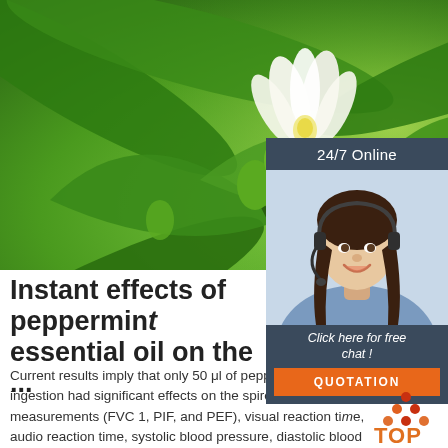[Figure (photo): Close-up photo of white tropical flowers (likely orange blossom or neroli) with green buds and large green leaves in the background]
[Figure (infographic): 24/7 Online chat widget sidebar with dark blue/gray background, photo of smiling woman with headset, text 'Click here for free chat!', and orange QUOTATION button]
Instant effects of peppermint essential oil on the ...
Current results imply that only 50 μl of peppermint essential oil ingestion had significant effects on the spirometric measurements (FVC 1, PIF, and PEF), visual reaction time, audio reaction time, systolic blood pressure, diastolic blood pressure, heart rate, breath rate, grip force, vertical jump test,
[Figure (logo): TOP logo with orange/red dots arranged in a triangle above the letters TOP in orange]